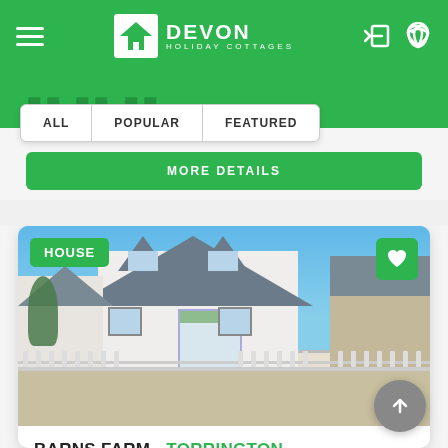Devon Holiday Cottages
ALL   POPULAR   FEATURED
MORE DETAILS
[Figure (photo): Exterior photo of a white country house with grey slate roof, dormer windows, glass porch entrance, attached stone barn/outbuilding, wooden picket fence, clear blue sky background — Barns Farm, Torrington]
HOUSE
BARNS FARM - TORRINGTON